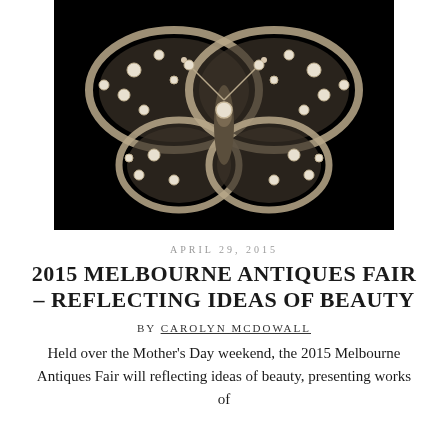[Figure (photo): A diamond butterfly brooch photographed against a black background. The brooch is ornate with numerous round-cut diamonds set in silver/white metal forming the wings, body, and antennae of a butterfly.]
APRIL 29, 2015
2015 MELBOURNE ANTIQUES FAIR – REFLECTING IDEAS OF BEAUTY
BY CAROLYN MCDOWALL
Held over the Mother's Day weekend, the 2015 Melbourne Antiques Fair will reflecting ideas of beauty, presenting works of